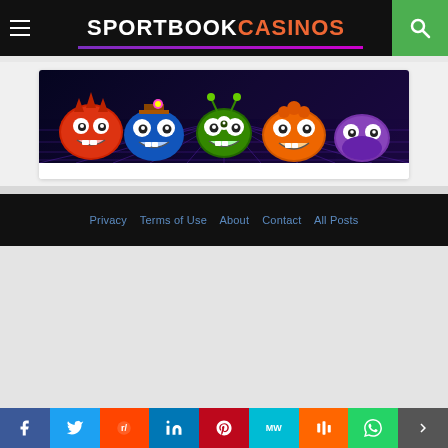SPORTBOOK CASINOS
[Figure (illustration): Cartoon monster characters on a dark grid background - colorful smiling characters in red, green, orange, and purple]
Privacy  Terms of Use  About  Contact  All Posts
[Figure (infographic): Social media sharing buttons: Facebook, Twitter, Reddit, LinkedIn, Pinterest, MeWe, Mix, WhatsApp, More]